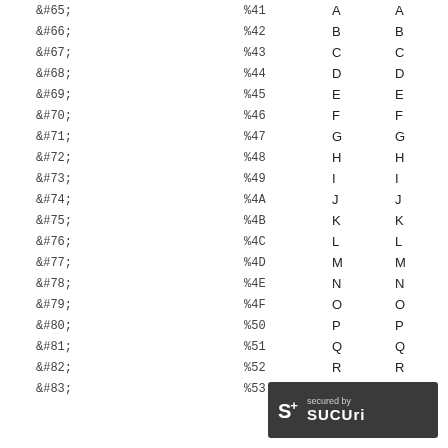| HTML Entity | URL Encoded | Char | Char |
| --- | --- | --- | --- |
| &#65; | %41 | A | A |
| &#66; | %42 | B | B |
| &#67; | %43 | C | C |
| &#68; | %44 | D | D |
| &#69; | %45 | E | E |
| &#70; | %46 | F | F |
| &#71; | %47 | G | G |
| &#72; | %48 | H | H |
| &#73; | %49 | I | I |
| &#74; | %4A | J | J |
| &#75; | %4B | K | K |
| &#76; | %4C | L | L |
| &#77; | %4D | M | M |
| &#78; | %4E | N | N |
| &#79; | %4F | O | O |
| &#80; | %50 | P | P |
| &#81; | %51 | Q | Q |
| &#82; | %52 | R | R |
| &#83; | %53 | S | S |
[Figure (logo): Sucuri security badge with S+ logo and 'secured by sucuri' text on dark background]